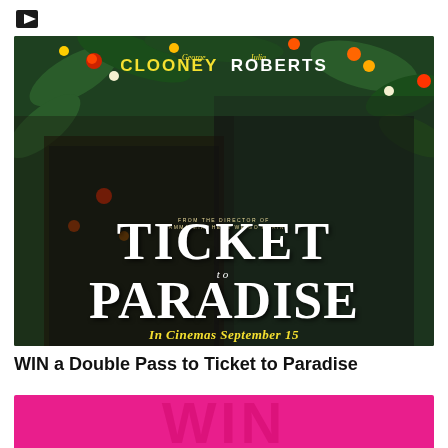D
[Figure (photo): Movie poster for 'Ticket to Paradise' featuring George Clooney and Julia Roberts standing together amid tropical flowers. Clooney wears a tuxedo and Roberts wears a floral embroidered jacket. Title text reads 'TICKET to PARADISE – In Cinemas September 15'. Tagline says 'From the director of Mamma Mia! Here We Go Again'.]
WIN a Double Pass to Ticket to Paradise
[Figure (other): Pink promotional banner with large 'WIN' text partially visible at bottom of page.]